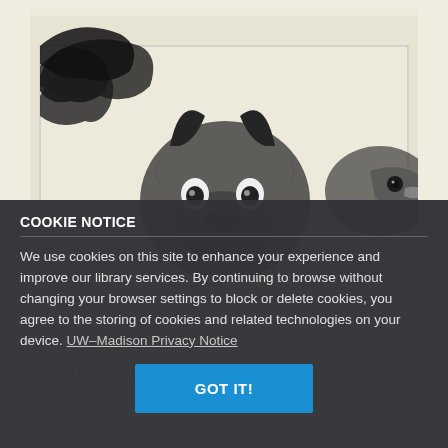[Figure (illustration): Pencil sketch illustration of wildlife animals including a bird of prey (eagle), a wolf, and another bird. Attribution text reads: INGA BRYNJALDSON, Communications Coordinator, DNR, Office of Endangered Species]
COOKIE NOTICE
We use cookies on this site to enhance your experience and improve our library services. By continuing to browse without changing your browser settings to block or delete cookies, you agree to the storing of cookies and related technologies on your device. UW–Madison Privacy Notice
GOT IT!